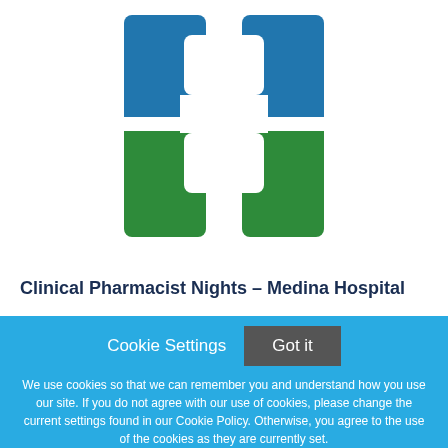[Figure (logo): Cleveland Clinic logo: blue and green interlocking cross/square shapes forming a health system logo mark]
Clinical Pharmacist Nights – Medina Hospital
Cookie Settings  Got it
We use cookies so that we can remember you and understand how you use our site. If you do not agree with our use of cookies, please change the current settings found in our Cookie Policy. Otherwise, you agree to the use of the cookies as they are currently set.